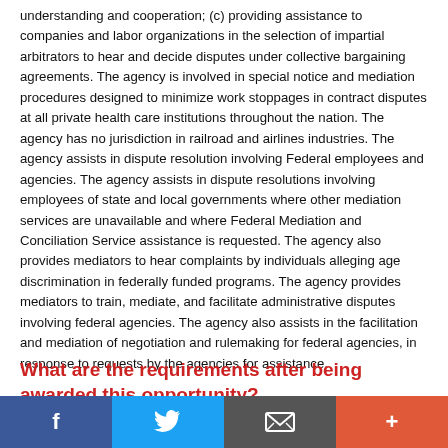understanding and cooperation; (c) providing assistance to companies and labor organizations in the selection of impartial arbitrators to hear and decide disputes under collective bargaining agreements. The agency is involved in special notice and mediation procedures designed to minimize work stoppages in contract disputes at all private health care institutions throughout the nation. The agency has no jurisdiction in railroad and airlines industries. The agency assists in dispute resolution involving Federal employees and agencies. The agency assists in dispute resolutions involving employees of state and local governments where other mediation services are unavailable and where Federal Mediation and Conciliation Service assistance is requested. The agency also provides mediators to hear complaints by individuals alleging age discrimination in federally funded programs. The agency provides mediators to train, mediate, and facilitate administrative disputes involving federal agencies. The agency also assists in the facilitation and mediation of negotiation and rulemaking for federal agencies, in response to requests by the agencies for assistance.
What are the requirements after being awarded this opportunity?